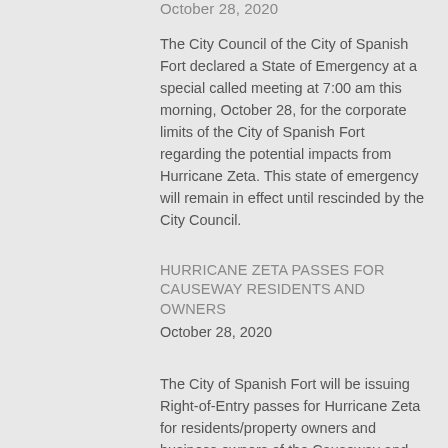October 28, 2020
The City Council of the City of Spanish Fort declared a State of Emergency at a special called meeting at 7:00 am this morning, October 28, for the corporate limits of the City of Spanish Fort regarding the potential impacts from Hurricane Zeta. This state of emergency will remain in effect until rescinded by the City Council.
HURRICANE ZETA PASSES FOR CAUSEWAY RESIDENTS AND OWNERS
October 28, 2020
The City of Spanish Fort will be issuing Right-of-Entry passes for Hurricane Zeta for residents/property owners and business owners of the Causeway and Pineda Island. Passes will be issued at